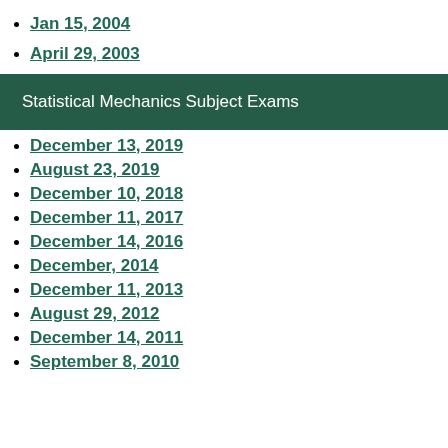Jan 15, 2004
April 29, 2003
Statistical Mechanics Subject Exams
December 13, 2019
August 23, 2019
December 10, 2018
December 11, 2017
December 14, 2016
December, 2014
December 11, 2013
August 29, 2012
December 14, 2011
September 8, 2010